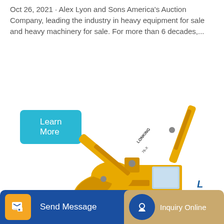Oct 26, 2021 · Alex Lyon and Sons America's Auction Company, leading the industry in heavy equipment for sale and heavy machinery for sale. For more than 6 decades,...
Learn More
[Figure (photo): Yellow Lonking hydraulic excavator with extended boom arm and bucket, shown on white background]
Send Message
s on
Inquiry Online